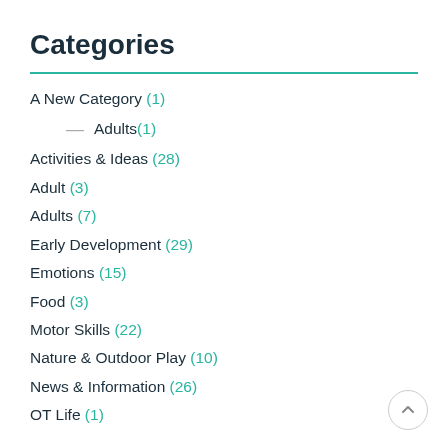Categories
A New Category (1)
— Adults (1)
Activities & Ideas (28)
Adult (3)
Adults (7)
Early Development (29)
Emotions (15)
Food (3)
Motor Skills (22)
Nature & Outdoor Play (10)
News & Information (26)
OT Life (1)